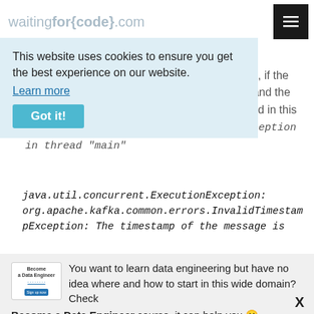waitingfor{code}.com
old regarding the broker's clock. In other words, if the difference between the message's timestamp and the broker's clock is greater than the value specified in this property, the message will be rejected with Exception in thread "main" java.util.concurrent.ExecutionException: org.apache.kafka.common.errors.InvalidTimestampException: The timestamp of the message is
[Figure (screenshot): Cookie consent banner overlay with text: This website uses cookies to ensure you get the best experience on our website. Learn more. Got it! button.]
[Figure (infographic): Become a Data Engineer advertisement logo]
You want to learn data engineering but have no idea where and how to start in this wide domain? Check Become a Data Engineer course, it can help you 🙂
Join the class!